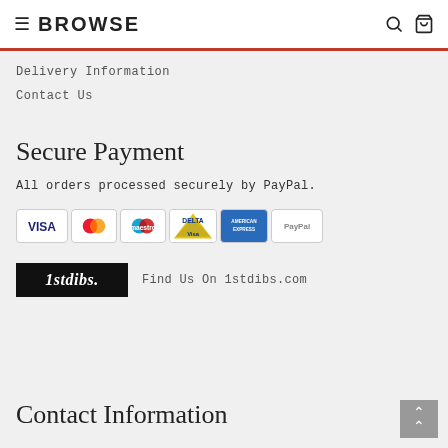≡ BROWSE
Delivery Information
Contact Us
Secure Payment
All orders processed securely by PayPal.
[Figure (logo): Payment method logos: VISA, Mastercard, Maestro, Delta, American Express, PayPal]
[Figure (logo): 1stdibs. logo with text: Find Us On 1stdibs.com]
Contact Information